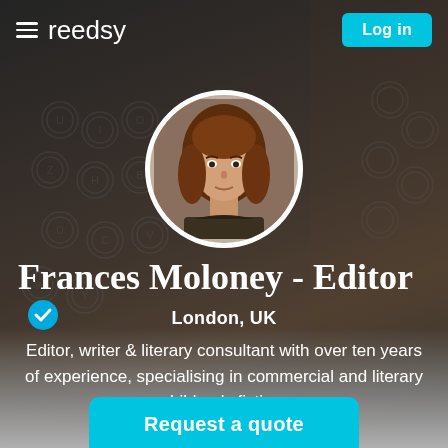reedsy
[Figure (photo): Circular profile photo of Frances Moloney, a woman with long auburn/brown hair, on a dark typewriter background]
Frances Moloney - Editor ✓
London, UK
Editor, writer & literary consultant with over ten years of experience, specialising in commercial and literary children's fiction.
Request a quote